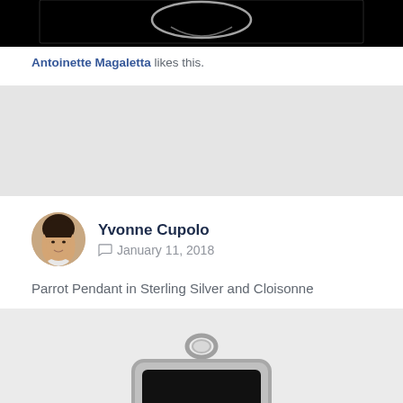[Figure (photo): Partial view of a silver jewelry piece against black background, cropped at top of frame]
Antoinette Magaletta likes this.
[Figure (photo): Circular avatar photo of Yvonne Cupolo, a woman with dark hair]
Yvonne Cupolo
January 11, 2018
Parrot Pendant in Sterling Silver and Cloisonne
[Figure (photo): A silver-framed pendant with a black background featuring a green parrot (lovebird) with an orange beak, square shaped pendant with loop bail at top]